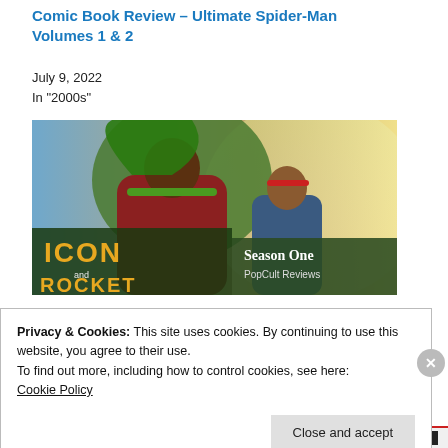Comic Book Review – Ultimate Spider-Man Volumes 1 & 2
July 9, 2022
In "2000s"
[Figure (illustration): Animated superhero image showing two characters — a large green-caped hero and a smaller female hero — with overlaid text reading 'ICON and ROCKET Season One PopCult Reviews']
Privacy & Cookies: This site uses cookies. By continuing to use this website, you agree to their use.
To find out more, including how to control cookies, see here:
Cookie Policy
Close and accept